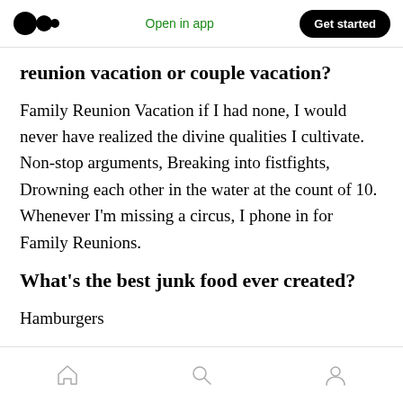Open in app  Get started
reunion vacation or couple vacation?
Family Reunion Vacation if I had none, I would never have realized the divine qualities I cultivate. Non-stop arguments, Breaking into fistfights, Drowning each other in the water at the count of 10. Whenever I'm missing a circus, I phone in for Family Reunions.
What's the best junk food ever created?
Hamburgers